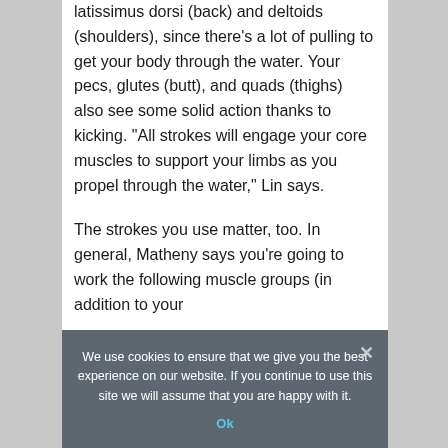latissimus dorsi (back) and deltoids (shoulders), since there’s a lot of pulling to get your body through the water. Your pecs, glutes (butt), and quads (thighs) also see some solid action thanks to kicking. “All strokes will engage your core muscles to support your limbs as you propel through the water,” Lin says.
The strokes you use matter, too. In general, Matheny says you’re going to work the following muscle groups (in addition to your
We use cookies to ensure that we give you the best experience on our website. If you continue to use this site we will assume that you are happy with it.